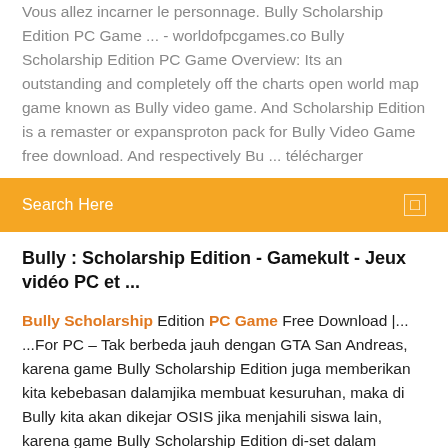Vous allez incarner le personnage. Bully Scholarship Edition PC Game ... - worldofpcgames.co Bully Scholarship Edition PC Game Overview: Its an outstanding and completely off the charts open world map game known as Bully video game. And Scholarship Edition is a remaster or expansproton pack for Bully Video Game free download. And respectively Bu ... télécharger
Search Here
Bully : Scholarship Edition - Gamekult - Jeux vidéo PC et ...
Bully Scholarship Edition PC Game Free Download |... ...For PC – Tak berbeda jauh dengan GTA San Andreas, karena game Bully Scholarship Edition juga memberikan kita kebebasan dalamjika membuat kesuruhan, maka di Bully kita akan dikejar OSIS jika menjahili siswa lain, karena game Bully Scholarship Edition di-set dalam lingkungan sekolah. Bully Scholarship Edition Free Download Pc Game -... Download bully scholarship